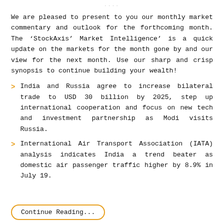....
We are pleased to present to you our monthly market commentary and outlook for the forthcoming month. The ‘StockAxis’ Market Intelligence’ is a quick update on the markets for the month gone by and our view for the next month. Use our sharp and crisp synopsis to continue building your wealth!
India and Russia agree to increase bilateral trade to USD 30 billion by 2025, step up international cooperation and focus on new tech and investment partnership as Modi visits Russia.
International Air Transport Association (IATA) analysis indicates India a trend beater as domestic air passenger traffic higher by 8.9% in July 19.
Continue Reading...